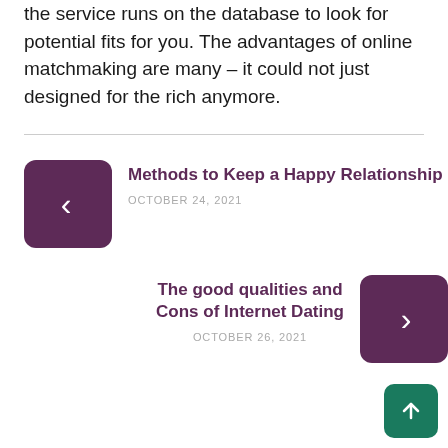the service runs on the database to look for potential fits for you. The advantages of online matchmaking are many – it could not just designed for the rich anymore.
Methods to Keep a Happy Relationship
OCTOBER 24, 2021
The good qualities and Cons of Internet Dating
OCTOBER 26, 2021